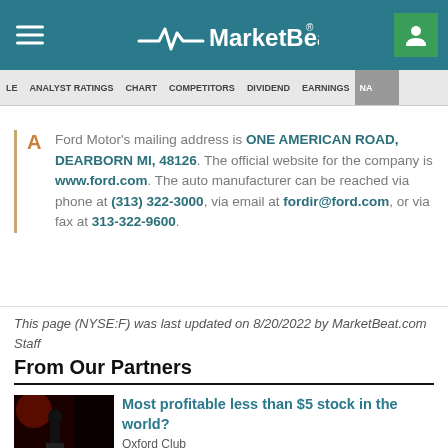MarketBeat
LE   ANALYST RATINGS   CHART   COMPETITORS   DIVIDEND   EARNINGS   NA
Ford Motor's mailing address is ONE AMERICAN ROAD, DEARBORN MI, 48126. The official website for the company is www.ford.com. The auto manufacturer can be reached via phone at (313) 322-3000, via email at fordir@ford.com, or via fax at 313-322-9600.
This page (NYSE:F) was last updated on 8/20/2022 by MarketBeat.com Staff
From Our Partners
Most profitable less than $5 stock in the world?
Oxford Club